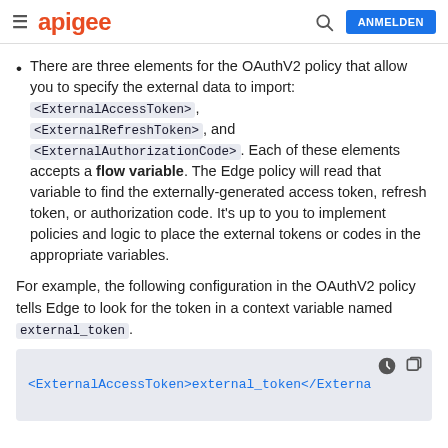apigee | ANMELDEN
There are three elements for the OAuthV2 policy that allow you to specify the external data to import: <ExternalAccessToken>, <ExternalRefreshToken>, and <ExternalAuthorizationCode>. Each of these elements accepts a flow variable. The Edge policy will read that variable to find the externally-generated access token, refresh token, or authorization code. It's up to you to implement policies and logic to place the external tokens or codes in the appropriate variables.
For example, the following configuration in the OAuthV2 policy tells Edge to look for the token in a context variable named external_token.
[Figure (screenshot): Code block showing: <ExternalAccessToken>external_token</Externa (truncated), with dark mode and copy icons]